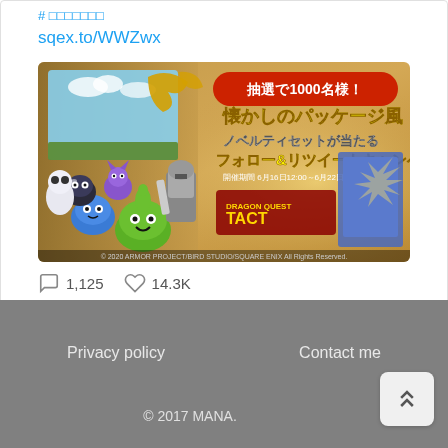# □□□□□□□
sqex.to/WWZwx
[Figure (photo): Dragon Quest TACT promotional banner image showing various Dragon Quest monster characters (slimes, metal slime, golem, etc.) with Japanese text advertising a follow & retweet campaign for a chance to win 1000 nostalgic package-style novelty sets. Text reads: 抽選で1000名様！懐かしのパッケージ風ノベルティセットが当たるフォロー&リツイートキャンペーン. Dragon Quest TACT logo visible. © 2020 ARMOR PROJECT/BIRD STUDIO/SQUARE ENIX.]
1,125
14.3K
Privacy policy    Contact me    © 2017 MANA.